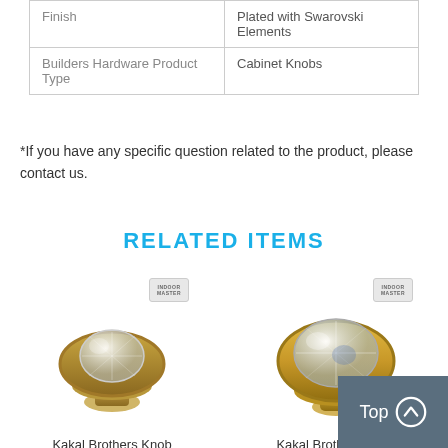|  |  |
| --- | --- |
| Finish | Plated with Swarovski Elements |
| Builders Hardware Product Type | Cabinet Knobs |
*If you have any specific question related to the product, please contact us.
RELATED ITEMS
[Figure (photo): Kakal Brothers Knob Carbon - antique brass cabinet knob with crystal center]
Kakal Brothers Knob Carbon
[Figure (photo): Kakal Brothers Knob Chekkers - gold cabinet knob with large crystal center]
Kakal Brothers Knob Chekkers